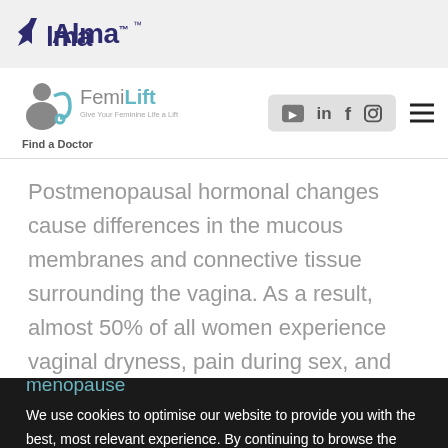Alma
[Figure (logo): FemiLift logo with doctor icon and tagline 'Give Your Feminine Life a Lift', social media icons (YouTube, LinkedIn, Facebook, Instagram), and hamburger menu]
Find a Doctor
Postmenopausal hormonal changes cause differences in the mucous membranes and connective tissue surrounding the vagina. As a result, almost 50% of all women experience vaginal dryness, pain during sex, and Urinary Incontinence after menopause
We use cookies to optimise our website to provide you with the best, most relevant experience. By continuing to browse the site you are agreeing to our Cookie Policy.